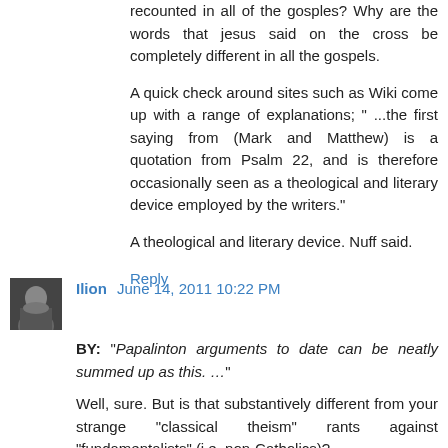recounted in all of the gosples? Why are the words that jesus said on the cross be completely different in all the gospels.
A quick check around sites such as Wiki come up with a range of explanations; " ...the first saying from (Mark and Matthew) is a quotation from Psalm 22, and is therefore occasionally seen as a theological and literary device employed by the writers."
A theological and literary device. Nuff said.
Reply
Ilion June 14, 2011 10:22 PM
BY: "Papalinton arguments to date can be neatly summed up as this. …"
Well, sure. But is that substantively different from your strange “classical theism” rants against “fundamentalists” (i.e. non-Catholics)?